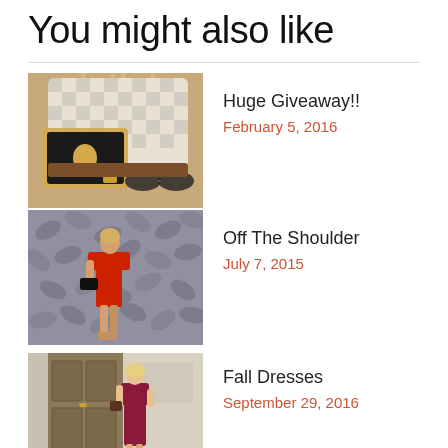You might also like
[Figure (photo): A Louis Vuitton checkered bag with an iPad and sunglasses on a brown surface]
Huge Giveaway!!
February 5, 2016
[Figure (photo): Woman in a red off-the-shoulder outfit standing in front of a decorative leaf-patterned wall]
Off The Shoulder
July 7, 2015
[Figure (photo): Woman in a dark red/magenta outfit standing in front of large ornate doors]
Fall Dresses
September 29, 2016